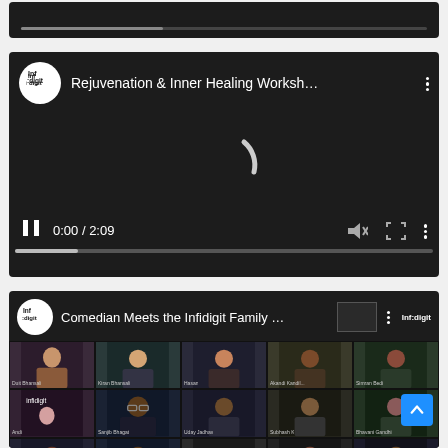[Figure (screenshot): Partially visible YouTube video player strip at top showing a dark progress bar]
[Figure (screenshot): YouTube video player showing 'Rejuvenation & Inner Healing Worksh...' with Infidigit logo, loading spinner, playback controls showing 0:00 / 2:09, mute icon, fullscreen icon, and progress bar]
[Figure (screenshot): YouTube video player showing 'Comedian Meets the Infidigit Family ...' with a grid of video call participants thumbnails. Names visible include Duit Bhansali, Kiran Bhansali, Hasan, Akandi Kandil..., Simran Bedi, Andi, Sanjib Bhagat, Uday Jadhav, Subhash K, Bhavani Gandhi, Jarnil Dayula, Sarat Bhatia, Ishaan, Sarward Kotti, Abhijeet Mahak. A blue scroll-to-top button is visible in the bottom right.]